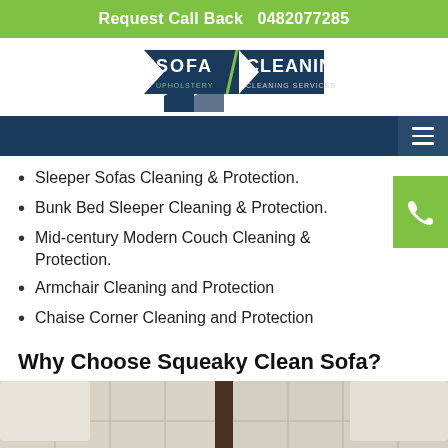Request Call Back   0482077285
[Figure (logo): Sofa Cleaning Upholstery Cleaning Services logo with dark blue arrow/chevron shapes and green/white text]
Sleeper Sofas Cleaning & Protection.
Bunk Bed Sleeper Cleaning & Protection.
Mid-century Modern Couch Cleaning & Protection.
Armchair Cleaning and Protection
Chaise Corner Cleaning and Protection
Why Choose Squeaky Clean Sofa?
[Figure (photo): Close-up photo of a cream/beige quilted leather sofa before and after cleaning, split by a dark brown divider]